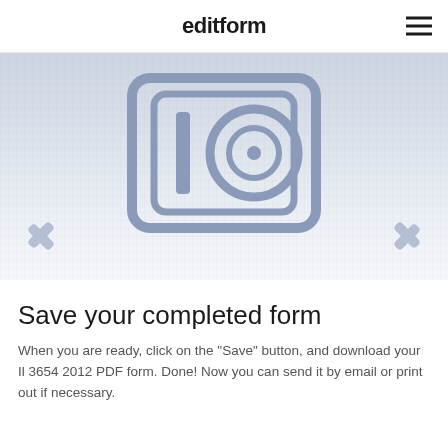editform
[Figure (screenshot): A placeholder image area showing a camera/photo icon (rounded rectangle with a lens) in blue-grey tones, with a grid/line texture background and left/right navigation arrow chevrons at the bottom corners.]
Save your completed form
When you are ready, click on the "Save" button, and download your Il 3654 2012 PDF form. Done! Now you can send it by email or print out if necessary.